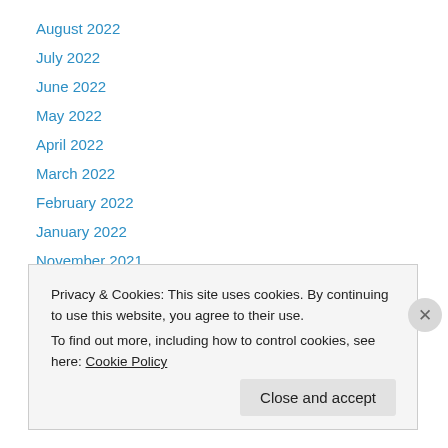August 2022
July 2022
June 2022
May 2022
April 2022
March 2022
February 2022
January 2022
November 2021
October 2021
September 2021
August 2021
Privacy & Cookies: This site uses cookies. By continuing to use this website, you agree to their use.
To find out more, including how to control cookies, see here: Cookie Policy
Close and accept